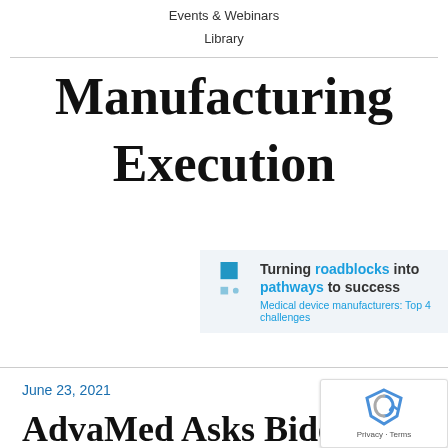Events & Webinars
Library
Manufacturing
Execution
[Figure (infographic): Promotional banner with blue square icon and bullet point. Text reads: Turning roadblocks into pathways to success. Subtext: Medical device manufacturers: Top 4 challenges]
June 23, 2021
AdvaMed Asks Biden